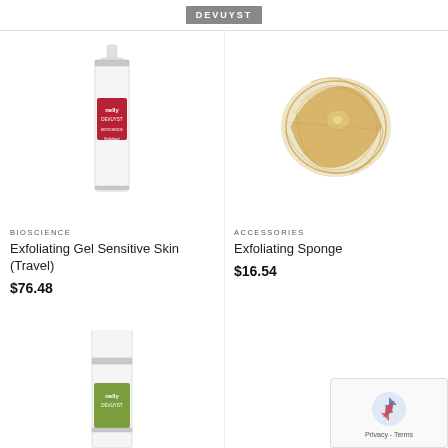DEVUYST
[Figure (photo): White pump bottle of Nelly Devuyst Exfoliating Gel Sensitive Skin (Travel size) with red label]
BIOSCIENCE
Exfoliating Gel Sensitive Skin (Travel)
$76.48
[Figure (photo): Round natural fiber exfoliating sponge on white background]
ACCESSORIES
Exfoliating Sponge
$16.54
[Figure (photo): White pump bottle of Nelly Devuyst product with green label, partially visible at bottom of page]